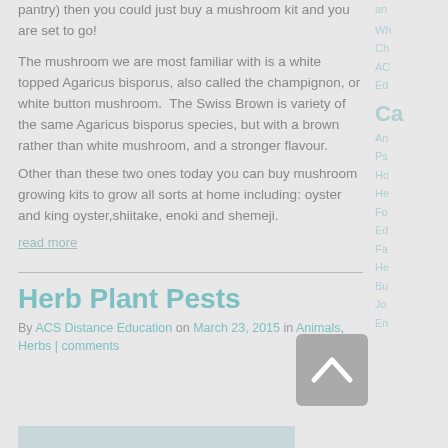pantry) then you could just buy a mushroom kit and you are set to go!
The mushroom we are most familiar with is a white topped Agaricus bisporus, also called the champignon, or white button mushroom.  The Swiss Brown is variety of the same Agaricus bisporus species, but with a brown rather than white mushroom, and a stronger flavour.
Other than these two ones today you can buy mushroom growing kits to grow all sorts at home including: oyster and king oyster,shiitake, enoki and shemeji.
read more
Herb Plant Pests
By ACS Distance Education on March 23, 2015 in Animals, Herbs | comments